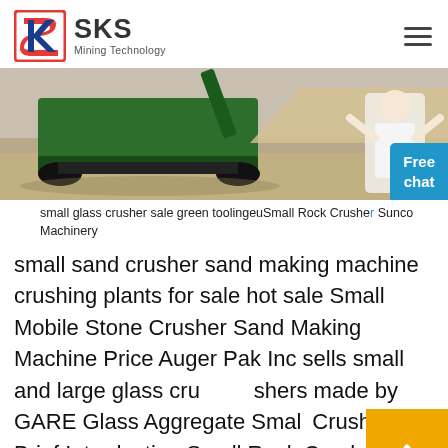SKS Mining Technology
[Figure (photo): Mining/crushing machinery (green crawler machine) on a dirt site with sandy/gravel surroundings. A woman in white coat appears on the right side overlay.]
small glass crusher sale green toolingeuSmall Rock Crusher Sunco Machinery
small sand crusher sand making machine crushing plants for sale hot sale Small Mobile Stone Crusher Sand Making Machine Price Auger Pak Inc sells small and large glass crushers made by GARE Glass Aggregate Small Crusher Brief Introduction Small Rock Crusher from Sunco Machinery can be used for crushing